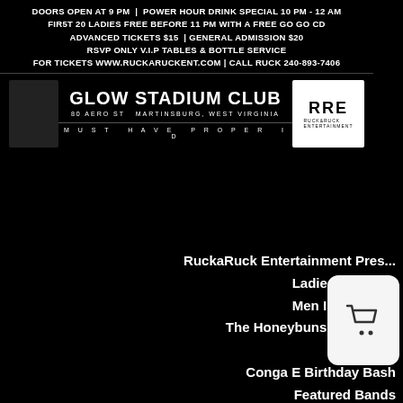[Figure (infographic): Event flyer for Glow Stadium Club. Text reads: DOORS OPEN AT 9 PM | POWER HOUR DRINK SPECIAL 10 PM - 12 AM / FIRST 20 LADIES FREE BEFORE 11 PM WITH A FREE GO GO CD / ADVANCED TICKETS $15 | GENERAL ADMISSION $20 / RSVP ONLY V.I.P TABLES & BOTTLE SERVICE / FOR TICKETS WWW.RUCKARUCKENT.COM | CALL RUCK 240-893-7406. Bottom section shows GLOW STADIUM CLUB / 80 AERO ST MARTINSBURG, WEST VIRGINIA / MUST HAVE PROPER ID with RuckaRuck Entertainment logo.]
RuckaRuck Entertainment Pres...
Ladies In All B...
Men In All White
The Honeybuns Crank Out
MAB`s 2.0
Conga E Birthday Bash
Featured Bands
Mental Attraction 2.0
Black Royal
Seductive Sounds
Saturday June 30th
Club Del Rio
Martinsburg, West Virginia
Doors Open at 9 pm...